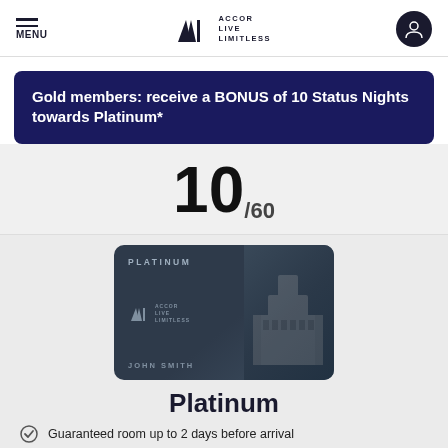MENU | ALL ACCOR LIVE LIMITLESS
Gold members: receive a BONUS of 10 Status Nights towards Platinum*
10/60
[Figure (illustration): Platinum membership card for JOHN SMITH with Accor Live Limitless logo and a background image of a classical building]
Platinum
Guaranteed room up to 2 days before arrival